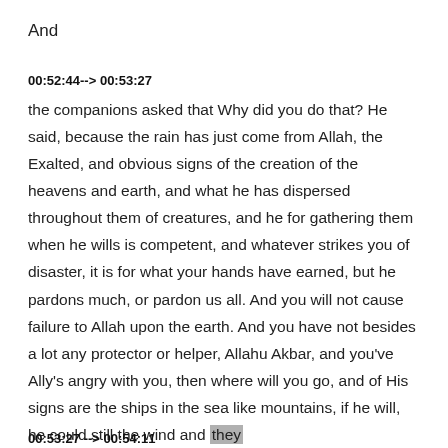And
00:52:44--> 00:53:27
the companions asked that Why did you do that? He said, because the rain has just come from Allah, the Exalted, and obvious signs of the creation of the heavens and earth, and what he has dispersed throughout them of creatures, and he for gathering them when he wills is competent, and whatever strikes you of disaster, it is for what your hands have earned, but he pardons much, or pardon us all. And you will not cause failure to Allah upon the earth. And you have not besides a lot any protector or helper, Allahu Akbar, and you've Ally's angry with you, then where will you go, and of His signs are the ships in the sea like mountains, if he will, he could still the wind and they
00:53:27 --> 00:54:11